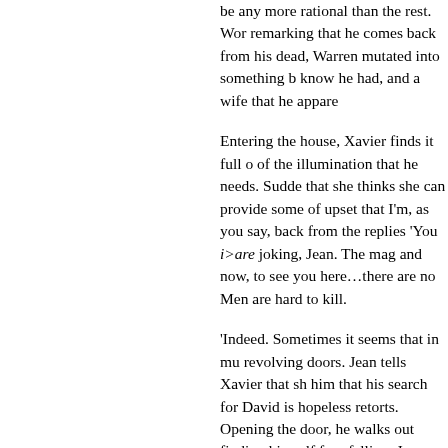be any more rational than the rest. Wor remarking that he comes back from his dead, Warren mutated into something b know he had, and a wife that he appare
Entering the house, Xavier finds it full o of the illumination that he needs. Sudde that she thinks she can provide some of upset that I'm, as you say, back from the replies 'You i>are joking, Jean. The mag and now, to see you here…there are no Men are hard to kill.
'Indeed. Sometimes it seems that in mu revolving doors. Jean tells Xavier that sh him that his search for David is hopeless retorts. Opening the door, he walks out finding himself free-falling. Jean urges th Staircase not going all the way to the to him.
Xavier exclaims that they are all images exclaims. Jean telekinetically hovers be